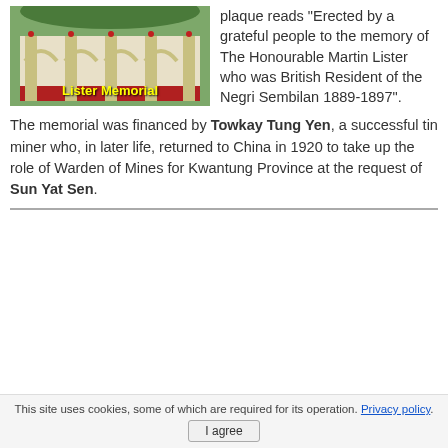[Figure (photo): Photo of a building with yellow arched columns labeled 'Lister Memorial' in yellow text at the bottom]
plaque reads "Erected by a grateful people to the memory of The Honourable Martin Lister who was British Resident of the Negri Sembilan 1889-1897".
The memorial was financed by Towkay Tung Yen, a successful tin miner who, in later life, returned to China in 1920 to take up the role of Warden of Mines for Kwantung Province at the request of Sun Yat Sen.
This site uses cookies, some of which are required for its operation. Privacy policy.